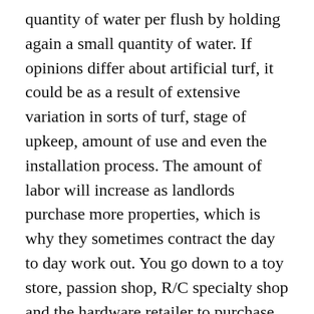quantity of water per flush by holding again a small quantity of water. If opinions differ about artificial turf, it could be as a result of extensive variation in sorts of turf, stage of upkeep, amount of use and even the installation process. The amount of labor will increase as landlords purchase more properties, which is why they sometimes contract the day to day work out. You go down to a toy store, passion shop, R/C specialty shop and the hardware retailer to purchase elements — a number of components of every measurement and shape possible. With algorithms in place to assist rank one of the best worth tickets and no buyer fees, there is no such thing as a better place to buy DC United tickets than TickPick!